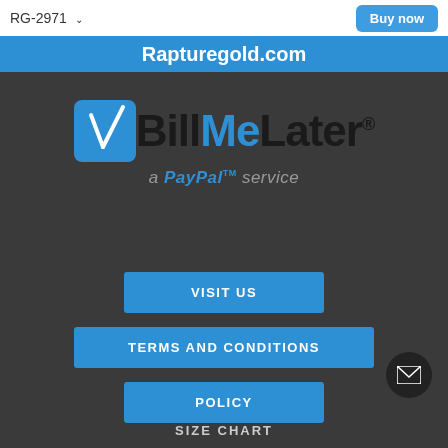RG-2971  Buy now
Rapturegold.com
[Figure (logo): BillMeLater logo - a PayPal service. Blue checkbox with checkmark on left, 'Bill' in black bold text, 'Me' in blue bold text, 'Later' in black bold text with registered trademark symbol. Below: 'a PayPal service' in italic grey text.]
VISIT US
TERMS AND CONDITIONS
POLICY
SIZE CHART